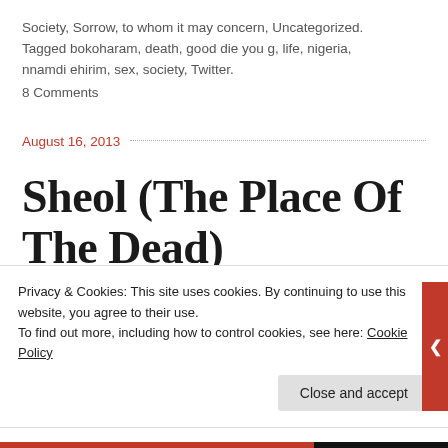Society, Sorrow, to whom it may concern, Uncategorized. Tagged bokoharam, death, good die you g, life, nigeria, nnamdi ehirim, sex, society, Twitter.
8 Comments
August 16, 2013
Sheol (The Place Of The Dead)
Privacy & Cookies: This site uses cookies. By continuing to use this website, you agree to their use.
To find out more, including how to control cookies, see here: Cookie Policy
Close and accept